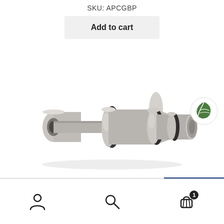SKU: APCGBP
Add to cart
[Figure (illustration): 3D rendered image of a cylindrical plug/earplug component shown in gray tones, with multiple disc sections and a tapered tip, displayed horizontally on a white background. A green eco-leaf badge is overlaid in the lower right corner.]
[Figure (infographic): Bottom navigation bar with three icons: a person/account icon on the left, a search magnifying glass icon in the center, and a shopping basket icon with a badge showing '1' on the right.]